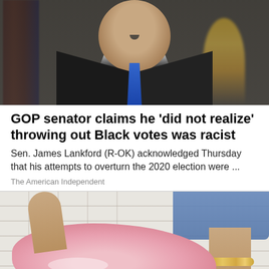[Figure (photo): Photo of a man in a dark suit and blue tie speaking at a podium, with an American flag in the background and a blonde person visible behind him]
GOP senator claims he 'did not realize' throwing out Black votes was racist
Sen. James Lankford (R-OK) acknowledged Thursday that his attempts to overturn the 2020 election were ...
The American Independent
[Figure (photo): Advertisement photo showing pink knit sneakers/shoes being worn by a person in jeans with a gold chain anklet, against a white brick wall background]